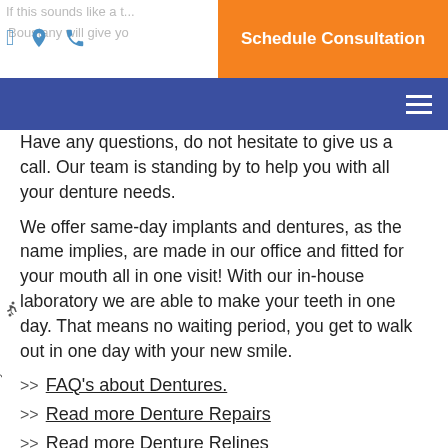If this sounds like a... Boustany will give yo... Schedule Consultation
Have any questions, do not hesitate to give us a call. Our team is standing by to help you with all your denture needs.
We offer same-day implants and dentures, as the name implies, are made in our office and fitted for your mouth all in one visit! With our in-house laboratory we are able to make your teeth in one day. That means no waiting period, you get to walk out in one day with your new smile.
>> FAQ's about Dentures.
>> Read more Denture Repairs
>> Read more Denture Relines
>> Read more Dentures vs. Dental Implants